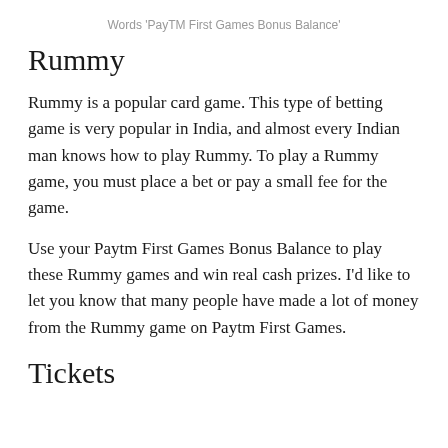Words 'PayTM First Games Bonus Balance'
Rummy
Rummy is a popular card game. This type of betting game is very popular in India, and almost every Indian man knows how to play Rummy. To play a Rummy game, you must place a bet or pay a small fee for the game.
Use your Paytm First Games Bonus Balance to play these Rummy games and win real cash prizes. I'd like to let you know that many people have made a lot of money from the Rummy game on Paytm First Games.
Tickets